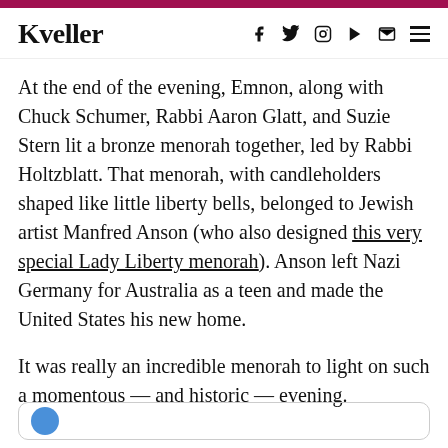Kveller
At the end of the evening, Emnon, along with Chuck Schumer, Rabbi Aaron Glatt, and Suzie Stern lit a bronze menorah together, led by Rabbi Holtzblatt. That menorah, with candleholders shaped like little liberty bells, belonged to Jewish artist Manfred Anson (who also designed this very special Lady Liberty menorah). Anson left Nazi Germany for Australia as a teen and made the United States his new home.
It was really an incredible menorah to light on such a momentous — and historic — evening.